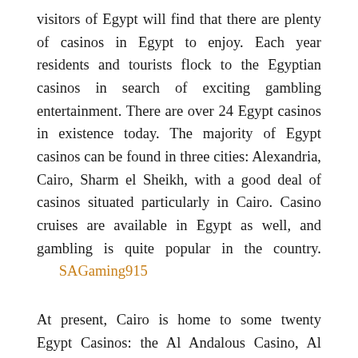visitors of Egypt will find that there are plenty of casinos in Egypt to enjoy. Each year residents and tourists flock to the Egyptian casinos in search of exciting gambling entertainment. There are over 24 Egypt casinos in existence today. The majority of Egypt casinos can be found in three cities: Alexandria, Cairo, Sharm el Sheikh, with a good deal of casinos situated particularly in Cairo. Casino cruises are available in Egypt as well, and gambling is quite popular in the country.      SAGaming915
At present, Cairo is home to some twenty Egypt Casinos: the Al Andalous Casino, Al Karnak Casino, Cairo Marriot Hotel and Omar El Salam Hotel, the Casino Midway, the Casino Panorama, the Casino Semiramis, the Cedars Casino, the Cleopatra Casino, the Conrad Cairo Casino, the El Gerzirah Sheraton Hotel, El Mamoura Tours Casino, the Sayeda Zeinab, the Felfala Casino, the Inter Casino and the Nile Hilton are among them. In the meantime, one casino can be found in the city of Alexandria: The El Salamlek